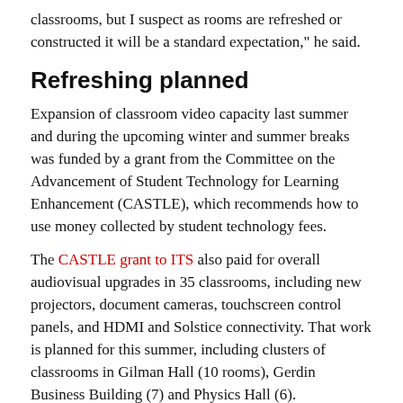classrooms, but I suspect as rooms are refreshed or constructed it will be a standard expectation," he said.
Refreshing planned
Expansion of classroom video capacity last summer and during the upcoming winter and summer breaks was funded by a grant from the Committee on the Advancement of Student Technology for Learning Enhancement (CASTLE), which recommends how to use money collected by student technology fees.
The CASTLE grant to ITS also paid for overall audiovisual upgrades in 35 classrooms, including new projectors, document cameras, touchscreen control panels, and HDMI and Solstice connectivity. That work is planned for this summer, including clusters of classrooms in Gilman Hall (10 rooms), Gerdin Business Building (7) and Physics Hall (6).